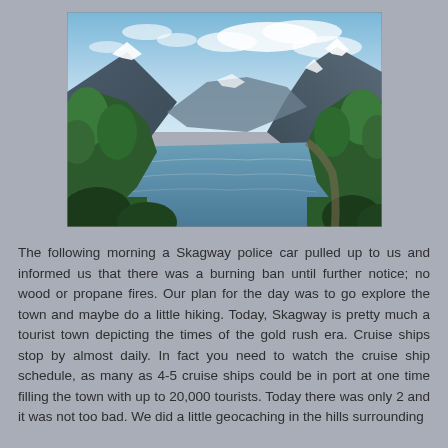[Figure (photo): Scenic landscape photograph showing a fjord or lake flanked by mountains with snow-capped peaks, forested green hillsides on both sides, calm blue water reflecting the sky, and a partly cloudy sky above. Trees frame the foreground.]
The following morning a Skagway police car pulled up to us and informed us that there was a burning ban until further notice; no wood or propane fires. Our plan for the day was to go explore the town and maybe do a little hiking. Today, Skagway is pretty much a tourist town depicting the times of the gold rush era. Cruise ships stop by almost daily. In fact you need to watch the cruise ship schedule, as many as 4-5 cruise ships could be in port at one time filling the town with up to 20,000 tourists. Today there was only 2 and it was not too bad. We did a little geocaching in the hills surrounding